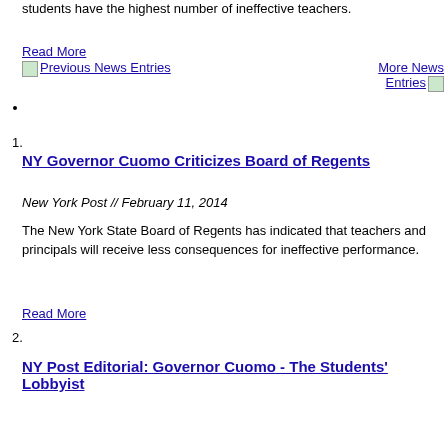students have the highest number of ineffective teachers.
Read More
Previous News Entries   More News Entries
1.
NY Governor Cuomo Criticizes Board of Regents
New York Post // February 11, 2014
The New York State Board of Regents has indicated that teachers and principals will receive less consequences for ineffective performance.
Read More
2.
NY Post Editorial: Governor Cuomo - The Students' Lobbyist